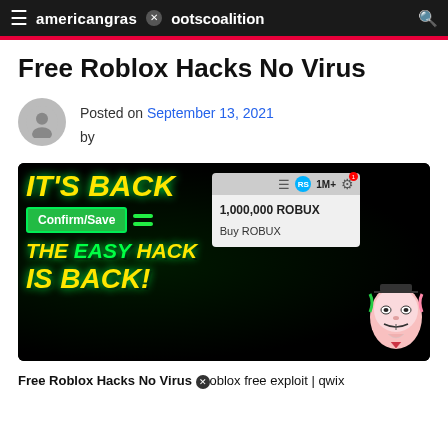americangrassrootscoalition
Free Roblox Hacks No Virus
Posted on September 13, 2021 by
[Figure (screenshot): Promotional image with black background, yellow and green styled text reading IT'S BACK, Confirm/Save button, THE EASY HACK IS BACK!, with a Roblox UI showing 1,000,000 ROBUX and Buy ROBUX, and a Guy Fawkes mask on the right.]
Free Roblox Hacks No Virus roblox free exploit | qwix